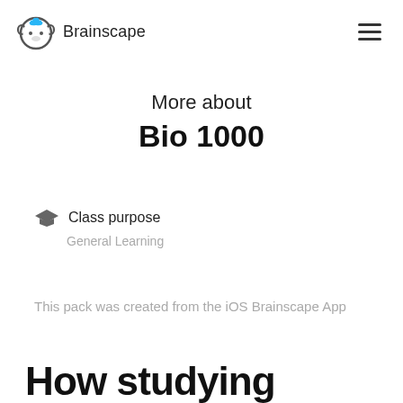Brainscape
More about
Bio 1000
Class purpose
General Learning
This pack was created from the iOS Brainscape App
How studying